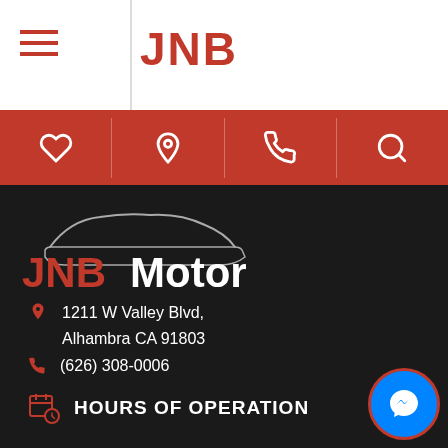JNB
[Figure (logo): JNB Motor dealership logo with car silhouette outline above bold red JNB and white Motor text]
1211 W Valley Blvd, Alhambra CA 91803
(626) 308-0006
HOURS OF OPERATION
MONDAY   10:00 AM - 6:00 PM
TUESDAY   10:00 AM - 6:00 PM